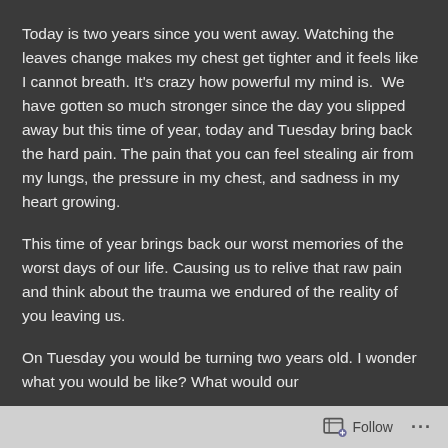Today is two years since you went away. Watching the leaves change makes my chest get tighter and it feels like I cannot breath. It's crazy how powerful my mind is.  We have gotten so much stronger since the day you slipped away but this time of year, today and Tuesday bring back the hard pain. The pain that you can feel stealing air from my lungs, the pressure in my chest, and sadness in my heart growing.
This time of year brings back our worst memories of the worst days of our life. Causing us to relive that raw pain and think about the trauma we endured of the reality of you leaving us.
On Tuesday you would be turning two years old. I wonder what you would be like? What would our
Follow ···